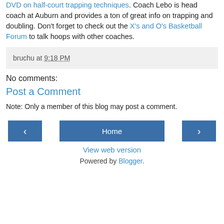DVD on half-court trapping techniques. Coach Lebo is head coach at Auburn and provides a ton of great info on trapping and doubling. Don't forget to check out the X's and O's Basketball Forum to talk hoops with other coaches.
bruchu at 9:18 PM
No comments:
Post a Comment
Note: Only a member of this blog may post a comment.
‹  Home  ›
View web version
Powered by Blogger.